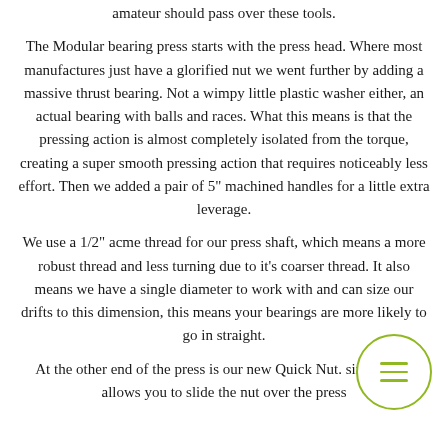amateur should pass over these tools.
The Modular bearing press starts with the press head. Where most manufactures just have a glorified nut we went further by adding a massive thrust bearing. Not a wimpy little plastic washer either, an actual bearing with balls and races. What this means is that the pressing action is almost completely isolated from the torque, creating a super smooth pressing action that requires noticeably less effort. Then we added a pair of 5" machined handles for a little extra leverage.
We use a 1/2" acme thread for our press shaft, which means a more robust thread and less turning due to it's coarser thread. It also means we have a single diameter to work with and can size our drifts to this dimension, this means your bearings are more likely to go in straight.
At the other end of the press is our new Quick Nut. simple part allows you to slide the nut over the press